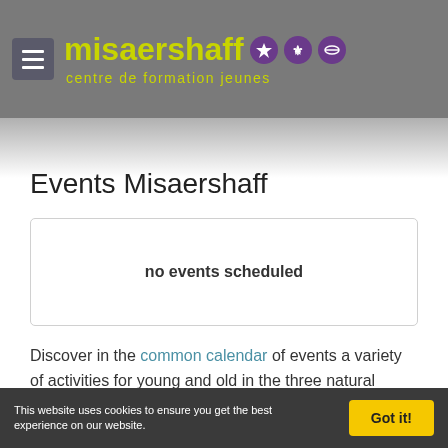[Figure (logo): Misaershaff centre de formation jeunes logo with yellow-green text and purple circle icons, on grey header background with hamburger menu button]
Events Misaershaff
no events scheduled
Discover in the common calendar of events a variety of activities for young and old in the three natural parks of Luxembourg.
This website uses cookies to ensure you get the best experience on our website.